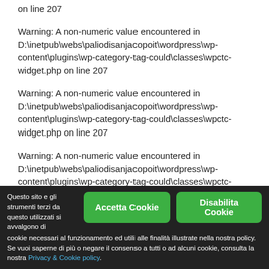on line 207
Warning: A non-numeric value encountered in D:\inetpub\webs\paliodisanjacopoit\wordpress\wp-content\plugins\wp-category-tag-could\classes\wpctc-widget.php on line 207
Warning: A non-numeric value encountered in D:\inetpub\webs\paliodisanjacopoit\wordpress\wp-content\plugins\wp-category-tag-could\classes\wpctc-widget.php on line 207
Warning: A non-numeric value encountered in D:\inetpub\webs\paliodisanjacopoit\wordpress\wp-content\plugins\wp-category-tag-could\classes\wpctc-widget.php on line 207
Questo sito e gli strumenti terzi da questo utilizzati si avvalgono di cookie necessari al funzionamento ed utili alle finalità illustrate nella nostra policy. Se vuoi saperne di più o negare il consenso a tutti o ad alcuni cookie, consulta la nostra Privacy & Cookie policy.